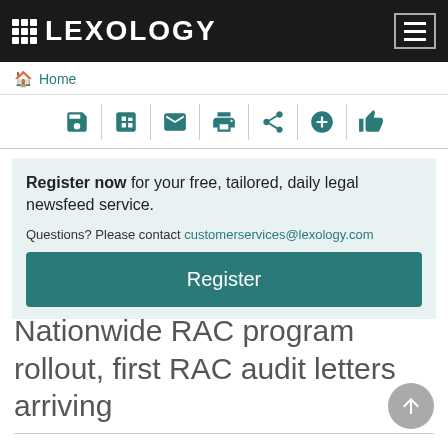LEXOLOGY
Home
[Figure (other): Toolbar with icons: save, open/edit, email, print, share, add, like]
Register now for your free, tailored, daily legal newsfeed service. Questions? Please contact customerservices@lexology.com
Register
Nationwide RAC program rollout, first RAC audit letters arriving